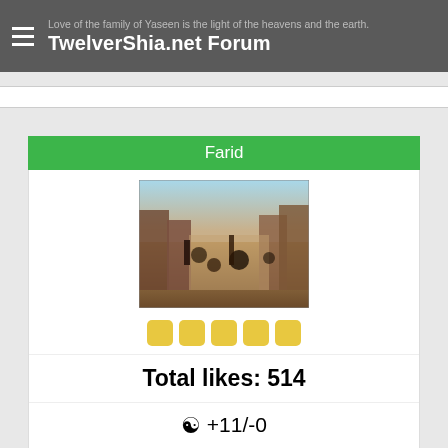Love of the family of Yaseen is the light of the heavens and the earth. TwelverShia.net Forum
Farid
[Figure (photo): Avatar image of a Middle Eastern market scene painting]
★★★★★
Total likes: 514
+11/-0
Gender: ♂
Religion: Sunni